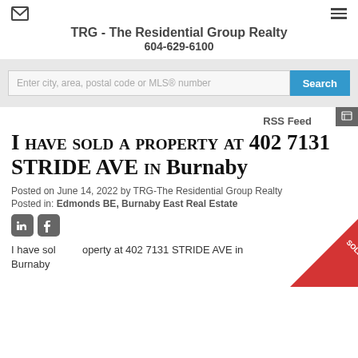TRG - The Residential Group Realty
604-629-6100
Enter city, area, postal code or MLS® number
RSS Feed
I have sold a property at 402 7131 STRIDE AVE in Burnaby
Posted on June 14, 2022 by TRG-The Residential Group Realty
Posted in: Edmonds BE, Burnaby East Real Estate
I have sold a property at 402 7131 STRIDE AVE in Burnaby